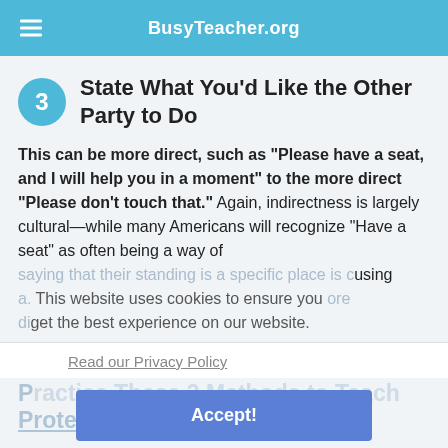BusyTeacher.org
3 State What You'd Like the Other Party to Do
This can be more direct, such as “Please have a seat, and I will help you in a moment” to the more direct “Please don’t touch that.” Again, indirectness is largely cultural—while many Americans will recognize “Have a seat” as often being a way of saying that their standing is a specific place is causing a. more direct
This website uses cookies to ensure you get the best experience on our website.
Read our Privacy Policy
Accept!
Practice These 3 Methods to Teach Protecting Boundaries